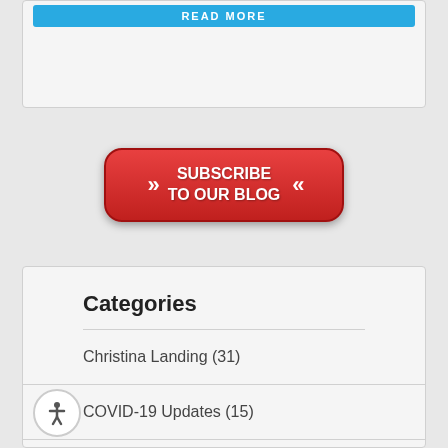[Figure (screenshot): Blue READ MORE button at top of card]
[Figure (illustration): Red rounded subscribe to our blog button with double chevron arrows on both sides]
Categories
Christina Landing (31)
COVID-19 Updates (15)
Downtown Wilmington (17)